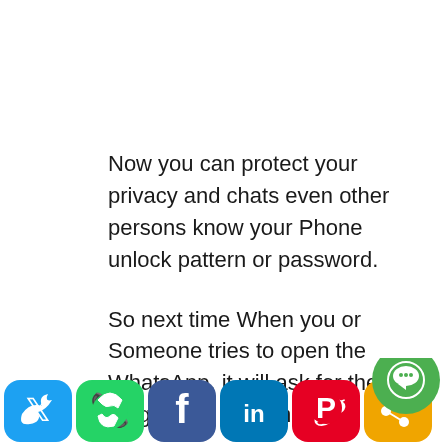Now you can protect your privacy and chats even other persons know your Phone unlock pattern or password.

So next time When you or Someone tries to open the WhatsApp, it will ask for the Fingerprint confirmation.
[Figure (infographic): Social media sharing buttons row at bottom: Twitter (blue), WhatsApp (green), Facebook (dark blue), LinkedIn (blue), Pinterest (red), Share (orange). A green circular chat bubble icon overlaps at bottom right.]